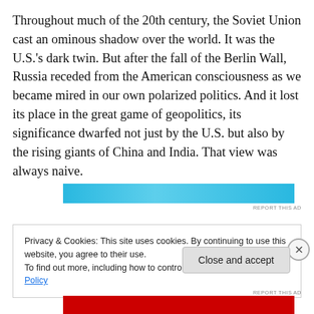Throughout much of the 20th century, the Soviet Union cast an ominous shadow over the world. It was the U.S.'s dark twin. But after the fall of the Berlin Wall, Russia receded from the American consciousness as we became mired in our own polarized politics. And it lost its place in the great game of geopolitics, its significance dwarfed not just by the U.S. but also by the rising giants of China and India. That view was always naive.
[Figure (other): Advertisement banner with light blue background]
REPORT THIS AD
Privacy & Cookies: This site uses cookies. By continuing to use this website, you agree to their use.
To find out more, including how to control cookies, see here: Cookie Policy
Close and accept
[Figure (other): Advertisement banner with red background at bottom]
REPORT THIS AD